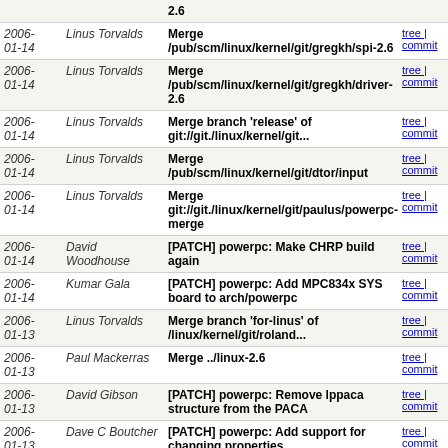| Date | Author | Commit | Links |
| --- | --- | --- | --- |
| 2006-01-14 | Linus Torvalds | Merge /pub/scm/linux/kernel/git/gregkh/spi-2.6 | tree | commit |
| 2006-01-14 | Linus Torvalds | Merge /pub/scm/linux/kernel/git/gregkh/driver-2.6 | tree | commit |
| 2006-01-14 | Linus Torvalds | Merge branch 'release' of git://git./linux/kernel/git... | tree | commit |
| 2006-01-14 | Linus Torvalds | Merge /pub/scm/linux/kernel/git/dtor/input | tree | commit |
| 2006-01-14 | Linus Torvalds | Merge git://git./linux/kernel/git/paulus/powerpc-merge | tree | commit |
| 2006-01-14 | David Woodhouse | [PATCH] powerpc: Make CHRP build again | tree | commit |
| 2006-01-14 | Kumar Gala | [PATCH] powerpc: Add MPC834x SYS board to arch/powerpc | tree | commit |
| 2006-01-13 | Linus Torvalds | Merge branch 'for-linus' of /linux/kernel/git/roland... | tree | commit |
| 2006-01-13 | Paul Mackerras | Merge ../linux-2.6 | tree | commit |
| 2006-01-13 | David Gibson | [PATCH] powerpc: Remove lppaca structure from the PACA | tree | commit |
| 2006-01-13 | Dave C Boutcher | [PATCH] powerpc: Add support for changing properties... | tree | commit |
| 2006-01-12 | Steve French | Merge ... /linux/kernel/git/torvalds/linux-2.6.git | tree | commit |